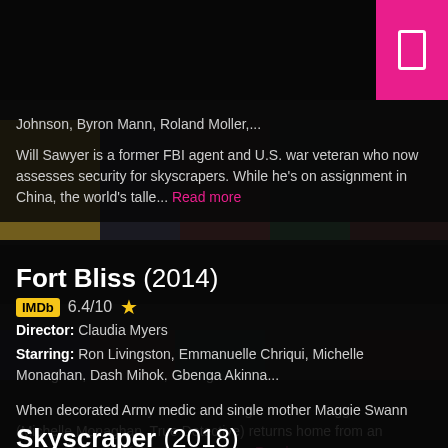[Figure (screenshot): Dark background with movie poster collage strips]
Johnson, Byron Mann, Roland Moller,...
Will Sawyer is a former FBI agent and U.S. war veteran who now assesses security for skyscrapers. While he’s on assignment in China, the world’s talle... Read more
Fort Bliss (2014)
IMDb 6.4/10 ★
Director: Claudia Myers
Starring: Ron Livingston, Emmanuelle Chriqui, Michelle Monaghan, Dash Mihok, Gbenga Akinna...
When decorated Army medic and single mother Maggie Swann (Michelle Monaghan, True Detective) returns home from an extended tour in Afghanistan she att... Read more
Skyscraper (2018)